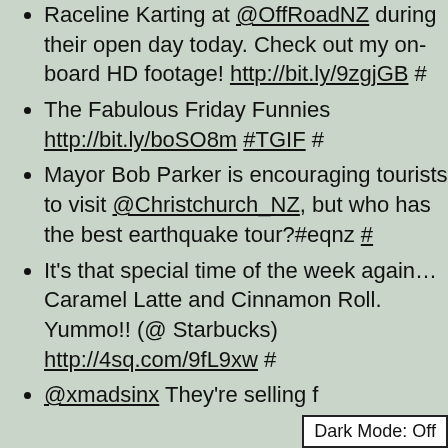Raceline Karting at @OffRoadNZ during their open day today. Check out my on-board HD footage! http://bit.ly/9zgjGB #
The Fabulous Friday Funnies http://bit.ly/boSO8m #TGIF #
Mayor Bob Parker is encouraging tourists to visit @Christchurch_NZ, but who has the best earthquake tour?#eqnz #
It's that special time of the week again… Caramel Latte and Cinnamon Roll. Yummo!! (@ Starbucks) http://4sq.com/9fL9xw #
@xmadsinx They're selling f
Dark Mode: Off